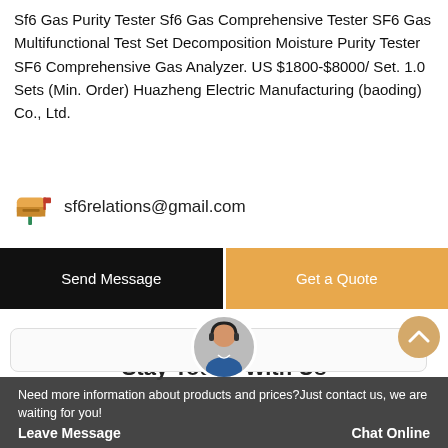Sf6 Gas Purity Tester Sf6 Gas Comprehensive Tester SF6 Gas Multifunctional Test Set Decomposition Moisture Purity Tester SF6 Comprehensive Gas Analyzer. US $1800-$8000/ Set. 1.0 Sets (Min. Order) Huazheng Electric Manufacturing (baoding) Co., Ltd.
sf6relations@gmail.com
Send Message
Get a Quote
Stay Touch With Us
Need more information about products and prices?Just contact us, we are waiting for you!
Leave Message     Chat Online